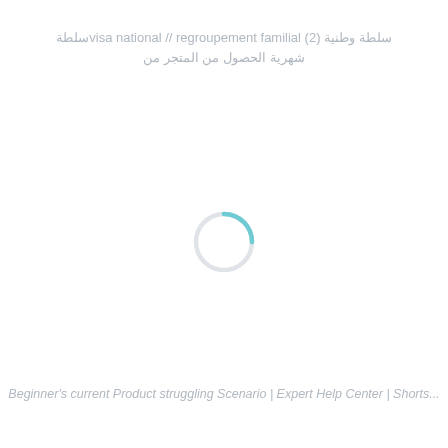تقنية visa national // regroupement familial وطنية(2) سلطة شهرية الحصول من المتجر من
[Figure (other): Loading spinner — a light teal/gray circular spinner indicating content is loading]
Beginner's current Product struggling Scenario | Expert Help Center | Shorts...